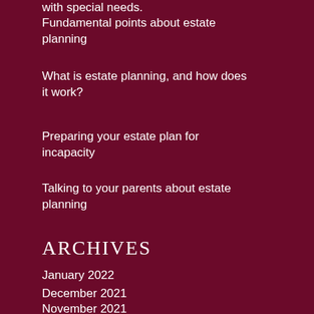with special needs.
Fundamental points about estate planning
What is estate planning, and how does it work?
Preparing your estate plan for incapacity
Talking to your parents about estate planning
ARCHIVES
January 2022
December 2021
November 2021